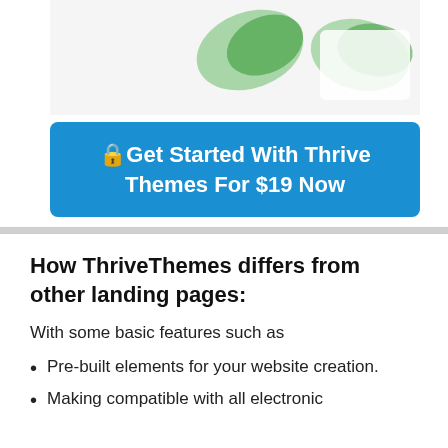[Figure (screenshot): Top portion of a webpage screenshot showing partial product images with green leaf icons on white background]
🔒Get Started With Thrive Themes For $19 Now
How ThriveThemes differs from other landing pages:
With some basic features such as
Pre-built elements for your website creation.
Making compatible with all electronic